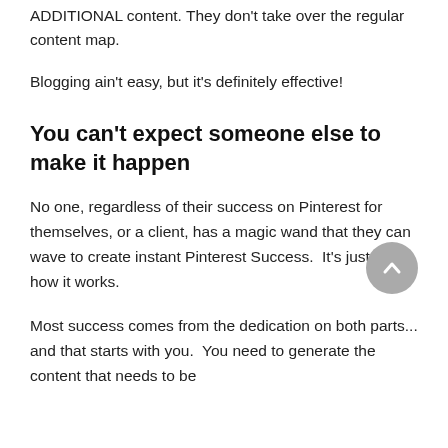ADDITIONAL content. They don't take over the regular content map.
Blogging ain't easy, but it's definitely effective!
You can't expect someone else to make it happen
No one, regardless of their success on Pinterest for themselves, or a client, has a magic wand that they can wave to create instant Pinterest Success.  It's just not how it works.
Most success comes from the dedication on both parts... and that starts with you.  You need to generate the content that needs to be